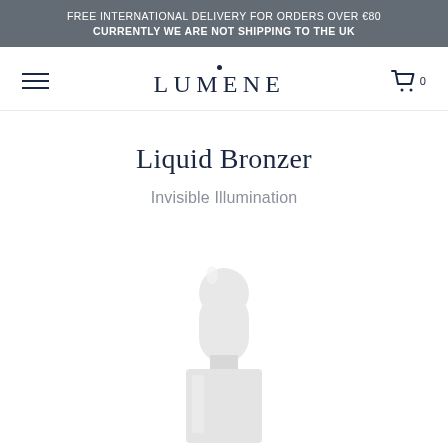FREE INTERNATIONAL DELIVERY FOR ORDERS OVER €80
CURRENTLY WE ARE NOT SHIPPING TO THE UK
LUMENE
Liquid Bronzer
Invisible Illumination
[Figure (photo): White dropper bottle product shot for Lumene Liquid Bronzer Invisible Illumination, showing the top portion of the bottle with rounded dropper cap and cylindrical body on white background.]